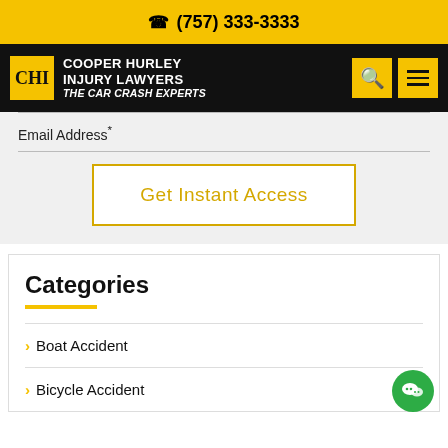(757) 333-3333
[Figure (logo): Cooper Hurley Injury Lawyers - The Car Crash Experts logo with yellow background and black navigation bar with search and menu icons]
Email Address*
Get Instant Access
Categories
Boat Accident
Bicycle Accident (41)